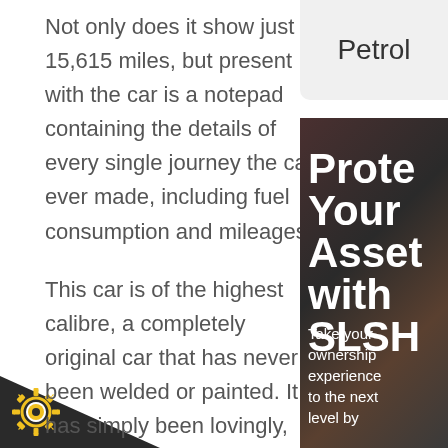Not only does it show just 15,615 miles, but present with the car is a notepad containing the details of every single journey the car ever made, including fuel consumption and mileages.
This car is of the highest calibre, a completely original car that has never been welded or painted. It has simply been lovingly, carefully and painstakingly maintained to the best possible standard.
Apologies to interested parties – this was sold before any photographs taken.
Petrol
[Figure (photo): Advertisement banner with dark background showing large bold white text reading 'Prote Your Asset with SLSH' and smaller text 'Take your ownership experience to the next level by']